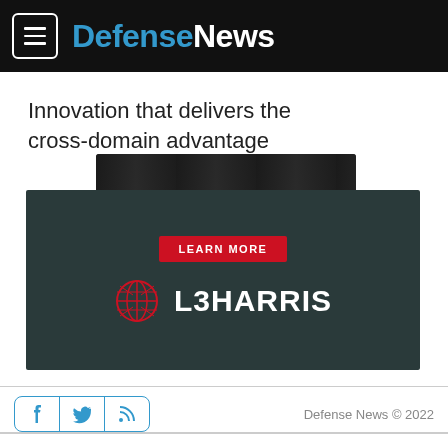DefenseNews
Innovation that delivers the cross-domain advantage
[Figure (advertisement): L3Harris advertisement with dark teal background, red 'LEARN MORE' button, L3Harris globe logo and company name in white text]
Defense News © 2022